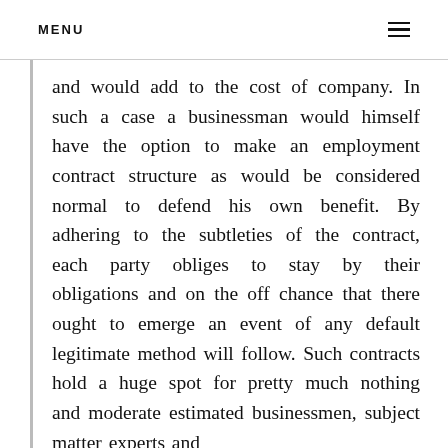MENU
and would add to the cost of company. In such a case a businessman would himself have the option to make an employment contract structure as would be considered normal to defend his own benefit. By adhering to the subtleties of the contract, each party obliges to stay by their obligations and on the off chance that there ought to emerge an event of any default legitimate method will follow. Such contracts hold a huge spot for pretty much nothing and moderate estimated businessmen, subject matter experts and